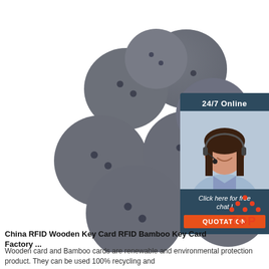[Figure (photo): Multiple gray circular RFID disc tags/buttons arranged in a scattered pile on a white background, each with two small holes.]
[Figure (infographic): 24/7 Online chat widget showing a smiling woman with headset, text 'Click here for free chat!' and an orange QUOTATION button on dark blue background.]
[Figure (logo): Orange and red TOP badge/logo in the bottom right corner.]
China RFID Wooden Key Card RFID Bamboo Key Card Factory ...
Wooden card and Bamboo cards are renewable and environmental protection product. They can be used 100% recycling and